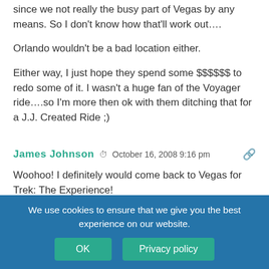since we not really the busy part of Vegas by any means. So I don't know how that'll work out….
Orlando wouldn't be a bad location either.
Either way, I just hope they spend some $$$$$$ to redo some of it. I wasn't a huge fan of the Voyager ride….so I'm more then ok with them ditching that for a J.J. Created Ride ;)
James Johnson  ⊙  October 16, 2008 9:16 pm
Woohoo! I definitely would come back to Vegas for Trek: The Experience!
greeley  ⊙  October 16, 2008 9:25 pm
Wow I'm never the first! This makes me very happy to hear. I am a long time Trekker who never got into DS9 until last year. So… see Quark's. But…
We use cookies to ensure that we give you the best experience on our website.